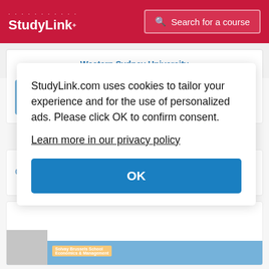StudyLink | Search for a course
Western Sydney University
Find out more
G
StudyLink.com uses cookies to tailor your experience and for the use of personalized ads. Please click OK to confirm consent.
Learn more in our privacy policy
OK